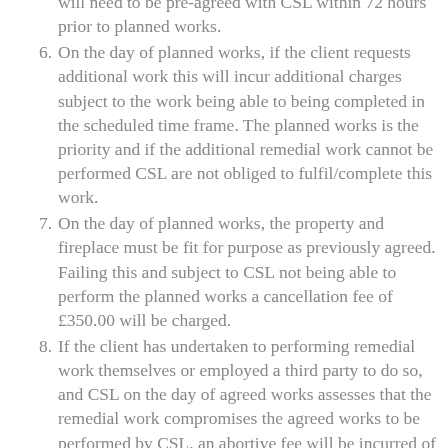will need to be pre-agreed with CSL within 72 hours prior to planned works.
6. On the day of planned works, if the client requests additional work this will incur additional charges subject to the work being able to being completed in the scheduled time frame. The planned works is the priority and if the additional remedial work cannot be performed CSL are not obliged to fulfil/complete this work.
7. On the day of planned works, the property and fireplace must be fit for purpose as previously agreed. Failing this and subject to CSL not being able to perform the planned works a cancellation fee of £350.00 will be charged.
8. If the client has undertaken to performing remedial work themselves or employed a third party to do so, and CSL on the day of agreed works assesses that the remedial work compromises the agreed works to be performed by CSL, an abortive fee will be incurred of £350.00. The client is responsible to rectify the work at their cost in order for the agreed